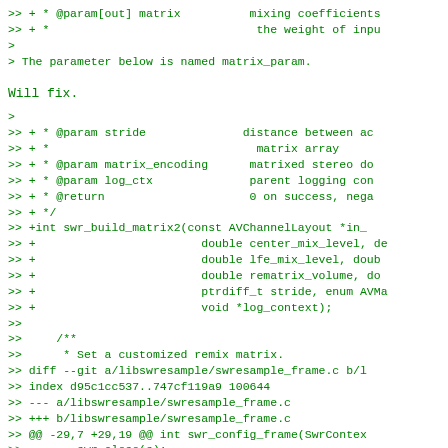>> + * @param[out] matrix          mixing coefficients
>> + *                              the weight of input
>
> The parameter below is named matrix_param.
Will fix.
>
>> + * @param stride              distance between ac
>> + *                              matrix array
>> + * @param matrix_encoding      matrixed stereo do
>> + * @param log_ctx              parent logging con
>> + * @return                     0 on success, nega
>> + */
>> +int swr_build_matrix2(const AVChannelLayout *in_
>> +                        double center_mix_level, do
>> +                        double lfe_mix_level, doub
>> +                        double rematrix_volume, do
>> +                        ptrdiff_t stride, enum AVMa
>> +                        void *log_context);
>>
>>     /**
>>      * Set a customized remix matrix.
>> diff --git a/libswresample/swresample_frame.c b/l
>> index d95c1cc537..747cf119a9 100644
>> --- a/libswresample/swresample_frame.c
>> +++ b/libswresample/swresample_frame.c
>> @@ -29,7 +29,19 @@ int swr_config_frame(SwrContex
>>        swr_close(s);
>>
>>        if (in) {
>>        if (av_opt_set_int(s, "icl", in->channel